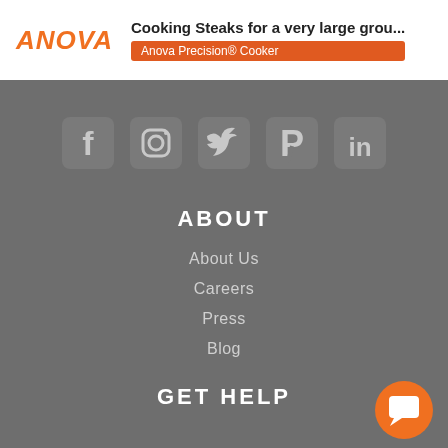Cooking Steaks for a very large grou... | Anova Precision® Cooker
[Figure (logo): ANOVA logo in orange italic text followed by page header with title 'Cooking Steaks for a very large grou...' and orange badge 'Anova Precision® Cooker']
[Figure (infographic): Row of five social media icons (Facebook, Instagram, Twitter, Pinterest, LinkedIn) on grey background]
ABOUT
About Us
Careers
Press
Blog
GET HELP